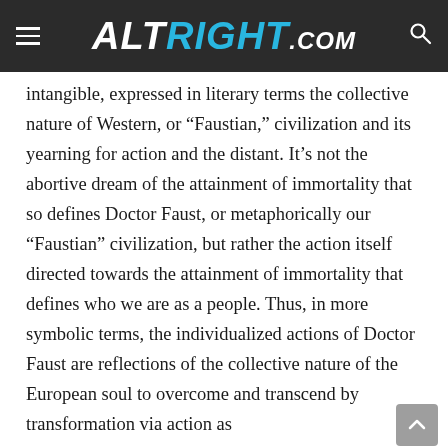ALTRIGHT.COM
intangible, expressed in literary terms the collective nature of Western, or “Faustian,” civilization and its yearning for action and the distant. It’s not the abortive dream of the attainment of immortality that so defines Doctor Faust, or metaphorically our “Faustian” civilization, but rather the action itself directed towards the attainment of immortality that defines who we are as a people. Thus, in more symbolic terms, the individualized actions of Doctor Faust are reflections of the collective nature of the European soul to overcome and transcend by transformation via action as